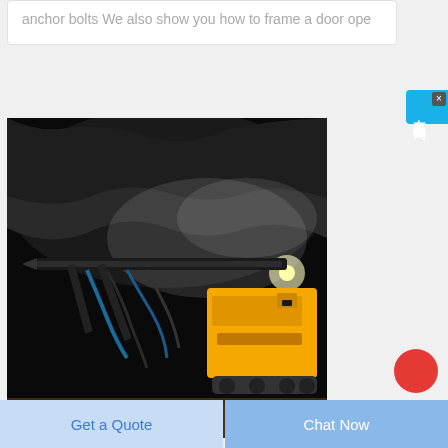anchor bolts We also show you how to frame a door ope
[Figure (photo): Underground mining tunnel scene with a large yellow drilling machine/rig operating in a dark rocky tunnel. Dust and mist visible. Hydraulic arms and drill visible in foreground.]
[Figure (other): Blue sidebar widget with Chinese characters reading '在线咨询' (online consultation) with an X close button]
[Figure (other): Red circular button in bottom right area]